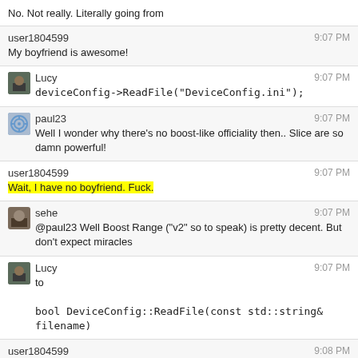No. Not really. Literally going from
user1804599 9:07 PM
My boyfriend is awesome!
Lucy 9:07 PM
deviceConfig->ReadFile("DeviceConfig.ini");
paul23 9:07 PM
Well I wonder why there's no boost-like officiality then.. Slice are so damn powerful!
user1804599 9:07 PM
Wait, I have no boyfriend. Fuck.
sehe 9:07 PM
@paul23 Well Boost Range ("v2" so to speak) is pretty decent. But don't expect miracles
Lucy 9:07 PM
to

bool DeviceConfig::ReadFile(const std::string& filename)
user1804599 9:08 PM
ewww
Lucy 9:08 PM
if(!filename.empty()) {
    m_filename = filename;
}